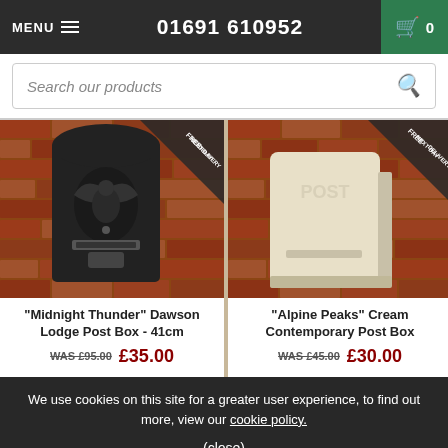MENU  01691 610952  Cart 0
Search our products
[Figure (photo): Black cast iron ornate post box mounted on red brick wall with 'FREE NEXT DAY DELIVERY' badge in top right corner]
"Midnight Thunder" Dawson Lodge Post Box - 41cm
WAS £95.00  £35.00
[Figure (photo): Cream contemporary post box mounted on red brick wall with 'FREE NEXT DAY DELIVERY' badge in top right corner]
"Alpine Peaks" Cream Contemporary Post Box
WAS £45.00  £30.00
We use cookies on this site for a greater user experience, to find out more, view our cookie policy.
(close)